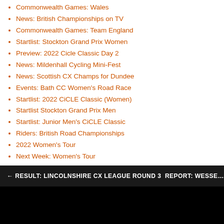Commonwealth Games: Wales
News: British Championships on TV
Commonwealth Games: Team England
Startlist: Stockton Grand Prix Women
Preview: 2022 Cicle Classic Day 2
News: Mildenhall Cycling Mini-Fest
News: Scottish CX Champs for Dundee
Events: Bath CC Women's Road Race
Startlist: 2022 CiCLE Classic (Women)
Startlist Stockton Grand Prix Men
Startlist: Junior Men's CiCLE Classic
Riders: British Road Championships
2022 Women's Tour
Next Week: Women's Tour
New Shoes Anyone?
News: Sammie Stuart goes UCI!
News: Brother UK Sponsors Biggest UK Races
Scottish Team for Commonwealth Games
Events: BikeStow Three-Day
← RESULT: LINCOLNSHIRE CX LEAGUE ROUND 3    REPORT: WESSE…